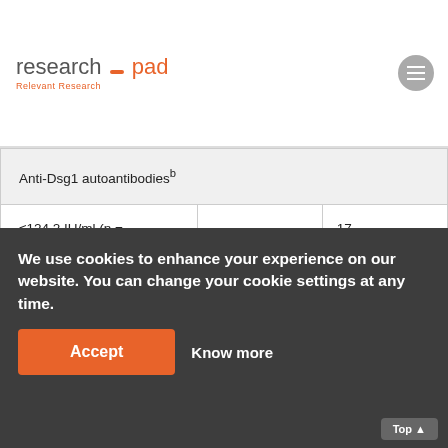research pad — Relevant Research
|  |  |  |
| --- | --- | --- |
| Anti-Dsg1 autoantibodiesb |  |  |
| ≤124.2 IU/ml (n = 61) | 44 (50.6) | 17 (20.5) |
| > 124.2 IU/ml (n = 109) | 43 (49.4) | 66 (79.5) |
| ≤169.5 IU/ml (n = 92) |  | (4… |
We use cookies to enhance your experience on our website. You can change your cookie settings at any time.